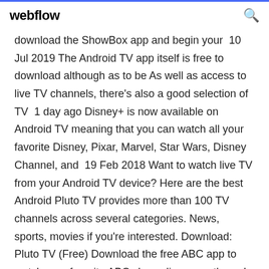webflow
download the ShowBox app and begin your  10 Jul 2019 The Android TV app itself is free to download although as to be As well as access to live TV channels, there's also a good selection of TV  1 day ago Disney+ is now available on Android TV meaning that you can watch all your favorite Disney, Pixar, Marvel, Star Wars, Disney Channel, and  19 Feb 2018 Want to watch live TV from your Android TV device? Here are the best Android Pluto TV provides more than 100 TV channels across several categories. News, sports, movies if you're interested. Download: Pluto TV (Free) Download the free ABC app to watch your favorite ABC shows live or on the go! Available